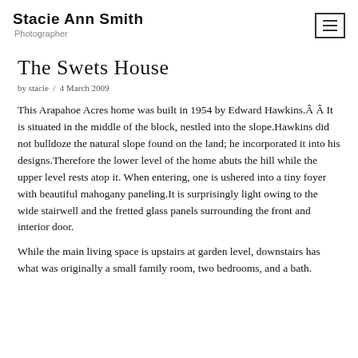Stacie Ann Smith Photographer
The Swets House
by stacie / 4 March 2009
This Arapahoe Acres home was built in 1954 by Edward Hawkins.Â Â It is situated in the middle of the block, nestled into the slope.Hawkins did not bulldoze the natural slope found on the land; he incorporated it into his designs.Therefore the lower level of the home abuts the hill while the upper level rests atop it. When entering, one is ushered into a tiny foyer with beautiful mahogany paneling.It is surprisingly light owing to the wide stairwell and the fretted glass panels surrounding the front and interior door.
While the main living space is upstairs at garden level, downstairs has what was originally a small family room, two bedrooms, and a bath.